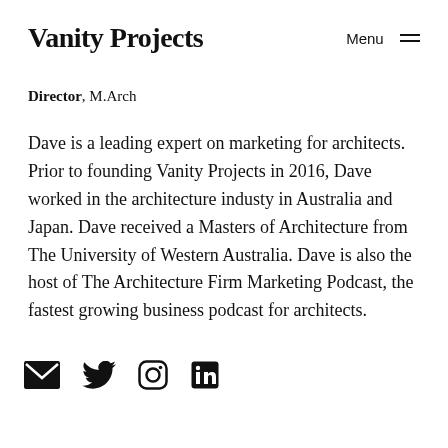Vanity Projects
Menu ≡
Director, M.Arch
Dave is a leading expert on marketing for architects. Prior to founding Vanity Projects in 2016, Dave worked in the architecture industy in Australia and Japan. Dave received a Masters of Architecture from The University of Western Australia. Dave is also the host of The Architecture Firm Marketing Podcast, the fastest growing business podcast for architects.
[Figure (other): Social media icons: email, twitter, instagram, linkedin]